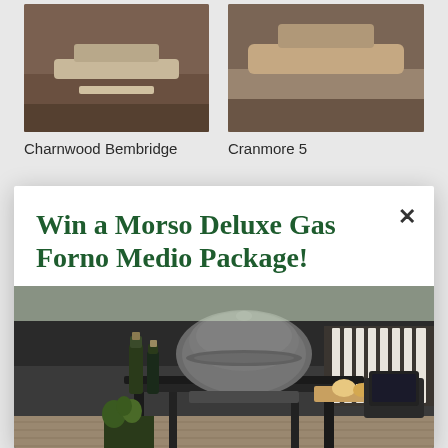[Figure (photo): Product photo of Charnwood Bembridge fireplace/stove]
[Figure (photo): Product photo of Cranmore 5 fireplace/stove]
Charnwood Bembridge
Cranmore 5
Win a Morso Deluxe Gas Forno Medio Package!
[Figure (photo): Photo of Morso Deluxe Gas Forno Medio outdoor gas pizza oven on a dark table on a wooden deck, with bottles, food, and outdoor seating in the background]